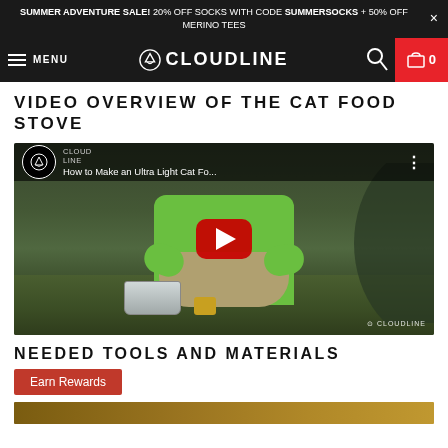SUMMER ADVENTURE SALE! 20% OFF SOCKS WITH CODE SUMMERSOCKS + 50% OFF MERINO TEES
MENU | CLOUDLINE | 0
VIDEO OVERVIEW OF THE CAT FOOD STOVE
[Figure (screenshot): YouTube video thumbnail showing a person sitting cross-legged outside a tent wearing a green jacket, with a metal pot and cat food stove in front. Video title: How to Make an Ultra Light Cat Fo...]
NEEDED TOOLS AND MATERIALS
Earn Rewards